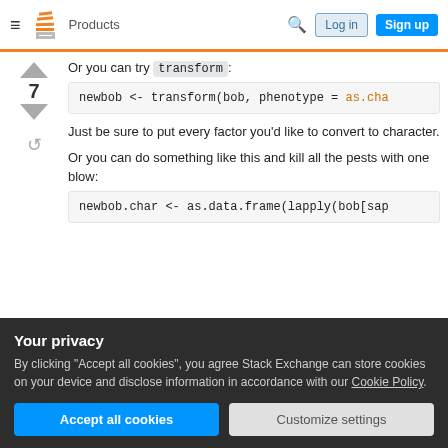≡ [Stack Overflow logo] Products  🔍  Log in  Sign up
Or you can try transform:
[Figure (screenshot): Code block showing: newbob <- transform(bob, phenotype = as.cha]
Just be sure to put every factor you'd like to convert to character.
Or you can do something like this and kill all the pests with one blow:
[Figure (screenshot): Code block showing: newbob.char <- as.data.frame(lapply(bob[sap]
Your privacy
By clicking "Accept all cookies", you agree Stack Exchange can store cookies on your device and disclose information in accordance with our Cookie Policy.
Accept all cookies   Customize settings
point... I haven't checked the code, 'cause I'm not at